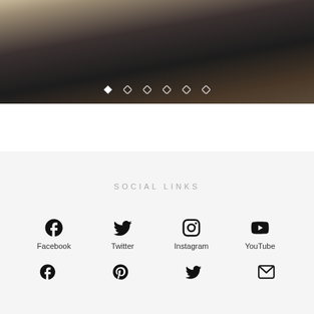[Figure (photo): Cropped photo of a person wearing a dark shirt with dark hair, partial view from behind/side with a light background visible on the left. Six diamond/rhombus navigation dots overlay the bottom of the image, the first filled white and remaining five as outlines.]
SOCIAL LINKS
[Figure (infographic): Row of four social media icons with labels: Facebook (circle-f icon), Twitter (bird icon), Instagram (camera icon), YouTube (play button icon). Below that, a second row of four icons without labels: Facebook, Pinterest, Twitter, Email/envelope.]